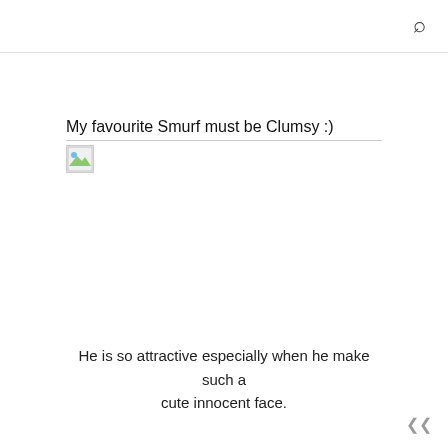🔍
My favourite Smurf must be Clumsy :)
[Figure (photo): Broken image placeholder with small landscape icon thumbnail]
He is so attractive especially when he make such a cute innocent face.